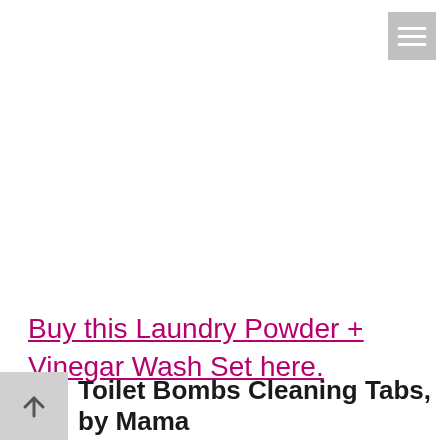[Figure (other): Hamburger menu icon button (three horizontal lines) in gray square, top right corner]
Buy this Laundry Powder + Vinegar Wash Set here.
Toilet Bombs Cleaning Tabs, by Mama